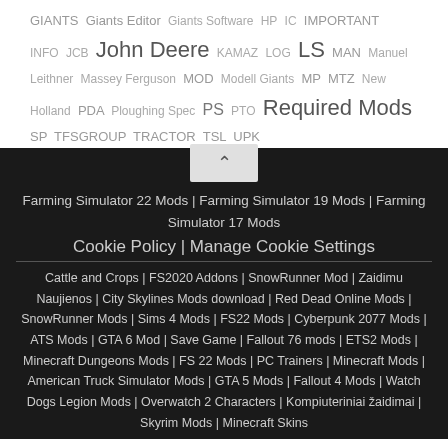GIANTS Giants Editor Giants Software HP IC IMPORTANT INFO JCB John Deere KAMAZ LOG LS MAN Manuel Leithner Massey Ferguson MOD Modell Giants MP MTZ New Holland PDA Ploughing Spec PS PTO Required Mods SP TFSGROUP TRACTOR TSL UPK
[Figure (other): Scroll-to-top button with chevron up arrow on dark background]
Farming Simulator 22 Mods | Farming Simulator 19 Mods | Farming Simulator 17 Mods
Cookie Policy | Manage Cookie Settings
Cattle and Crops | FS2020 Addons | SnowRunner Mod | Zaidimu Naujienos | City Skylines Mods download | Red Dead Online Mods | SnowRunner Mods | Sims 4 Mods | FS22 Mods | Cyberpunk 2077 Mods | ATS Mods | GTA 6 Mod | Save Game | Fallout 76 mods | ETS2 Mods | Minecraft Dungeons Mods | FS 22 Mods | PC Trainers | Minecraft Mods | American Truck Simulator Mods | GTA 5 Mods | Fallout 4 Mods | Watch Dogs Legion Mods | Overwatch 2 Characters | Kompiuteriniai žaidimai | Skyrim Mods | Minecraft Skins